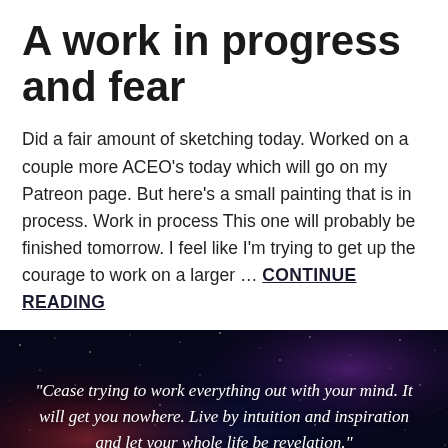A work in progress and fear
Did a fair amount of sketching today. Worked on a couple more ACEO's today which will go on my Patreon page. But here's a small painting that is in process. Work in process This one will probably be finished tomorrow. I feel like I'm trying to get up the courage to work on a larger … CONTINUE READING
[Figure (illustration): Dark space-themed background with nebula and planet imagery, containing a centered italic quote by Eileen Caddy: 'Cease trying to work everything out with your mind. It will get you nowhere. Live by intuition and inspiration and let your whole life be revelation.' – Eileen Caddy]